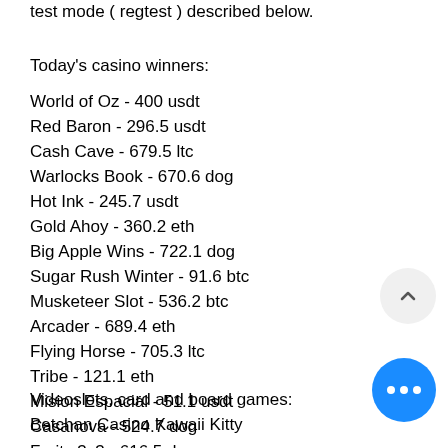test mode ( regtest ) described below.
Today's casino winners:
World of Oz - 400 usdt
Red Baron - 296.5 usdt
Cash Cave - 679.5 ltc
Warlocks Book - 670.6 dog
Hot Ink - 245.7 usdt
Gold Ahoy - 360.2 eth
Big Apple Wins - 722.1 dog
Sugar Rush Winter - 91.6 btc
Musketeer Slot - 536.2 btc
Arcader - 689.4 eth
Flying Horse - 705.3 ltc
Tribe - 121.1 eth
Mision Espacial - 51.1 usdt
Casanova - 524.7 dog
Fruity 3x3 - 616.5 dog
Videoslots, card and board games:
Betchan Casino Kawaii Kitty